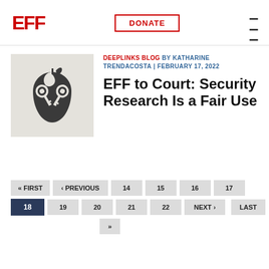EFF | DONATE
[Figure (logo): Apple logo with two crossed keys, on a light gray background — EFF article illustration]
DEEPLINKS BLOG BY KATHARINE TRENDACOSTA | FEBRUARY 17, 2022
EFF to Court: Security Research Is a Fair Use
« FIRST  ‹ PREVIOUS  14  15  16  17
18  19  20  21  22  NEXT ›  LAST
»